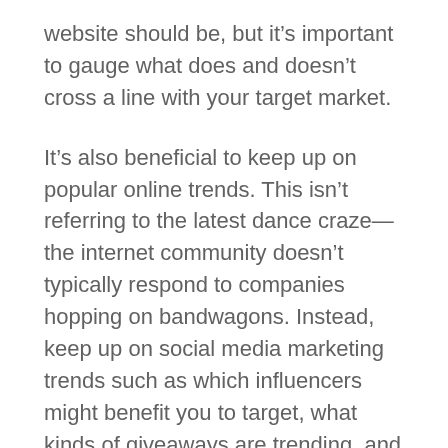website should be, but it's important to gauge what does and doesn't cross a line with your target market.
It's also beneficial to keep up on popular online trends. This isn't referring to the latest dance craze—the internet community doesn't typically respond to companies hopping on bandwagons. Instead, keep up on social media marketing trends such as which influencers might benefit you to target, what kinds of giveaways are trending, and what is happening on that platform's business page development.